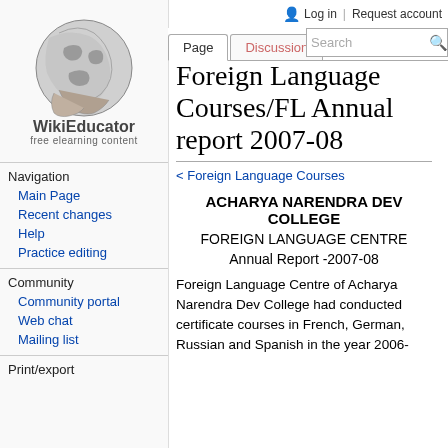Log in  Request account
[Figure (logo): WikiEducator globe logo with text 'WikiEducator free elearning content']
Navigation
Main Page
Recent changes
Help
Practice editing
Community
Community portal
Web chat
Mailing list
Print/export
Foreign Language Courses/FL Annual report 2007-08
< Foreign Language Courses
ACHARYA NARENDRA DEV COLLEGE
FOREIGN LANGUAGE CENTRE
Annual Report -2007-08
Foreign Language Centre of Acharya Narendra Dev College had conducted certificate courses in French, German, Russian and Spanish in the year 2006-